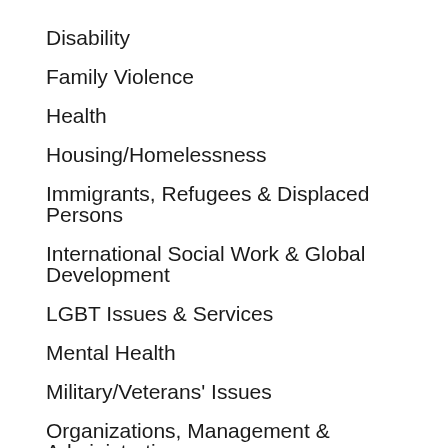Disability
Family Violence
Health
Housing/Homelessness
Immigrants, Refugees & Displaced Persons
International Social Work & Global Development
LGBT Issues & Services
Mental Health
Military/Veterans' Issues
Organizations, Management & Administration
Poverty/Disadvantaged Populations
Race and Ethnicity
Religion/Spirituality